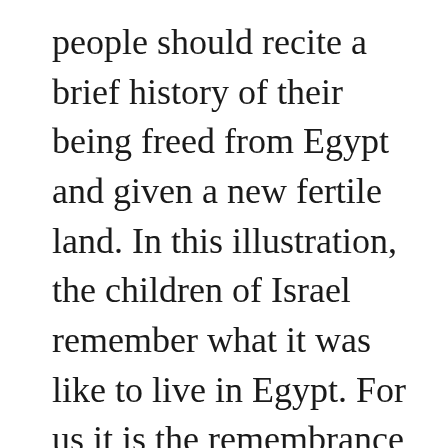people should recite a brief history of their being freed from Egypt and given a new fertile land. In this illustration, the children of Israel remember what it was like to live in Egypt. For us it is the remembrance or recognition of what we are like without God. After all,